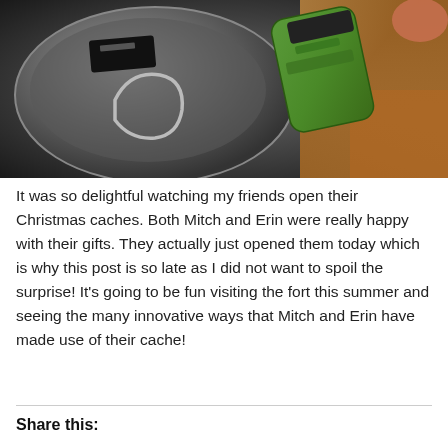[Figure (photo): A photo of a tin container/geocache with a green GPS device and black items inside, placed on a wooden surface.]
It was so delightful watching my friends open their Christmas caches. Both Mitch and Erin were really happy with their gifts. They actually just opened them today which is why this post is so late as I did not want to spoil the surprise! It's going to be fun visiting the fort this summer and seeing the many innovative ways that Mitch and Erin have made use of their cache!
Share this: